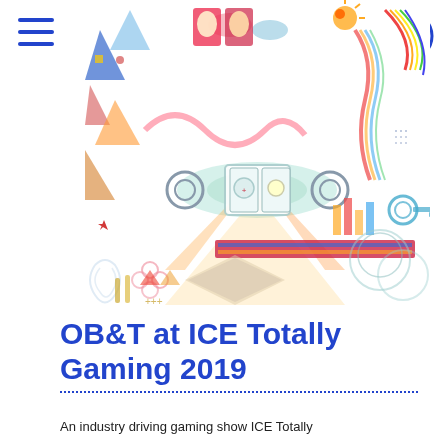[Figure (illustration): Colorful decorative illustration with geometric shapes, triangles, circles, mahjong tiles, and abstract gaming-related icons in a collage style]
OB&T at ICE Totally Gaming 2019
An industry driving gaming show ICE Totally